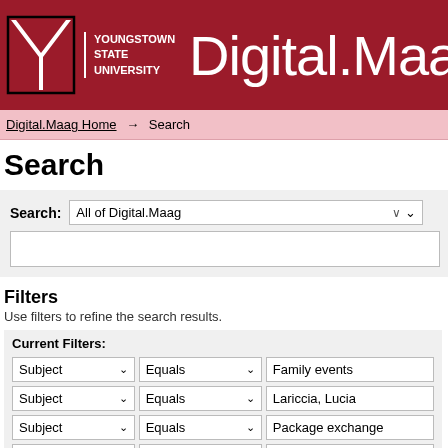[Figure (logo): Youngstown State University logo with Y emblem and Digital.Maag text on dark red background]
Digital.Maag Home → Search
Search
Search: All of Digital.Maag
Filters
Use filters to refine the search results.
Current Filters:
Subject ∨   Equals ∨   Family events
Subject ∨   Equals ∨   Lariccia, Lucia
Subject ∨   Equals ∨   Package exchange
Author ∨   Equals ∨   Musacchio, Lina
Subject ∨   Equals ∨   Musacchio, Mariannina